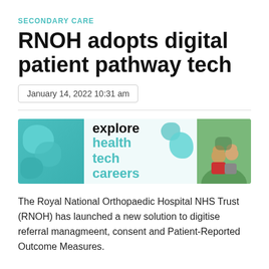SECONDARY CARE
RNOH adopts digital patient pathway tech
January 14, 2022 10:31 am
[Figure (illustration): Advertisement banner for 'explore health tech careers' with teal blob shapes on the left, text in the center, more blob shapes, and a photo of two people on the right]
The Royal National Orthopaedic Hospital NHS Trust (RNOH) has launched a new solution to digitise referral managmeent, consent and Patient-Reported Outcome Measures.